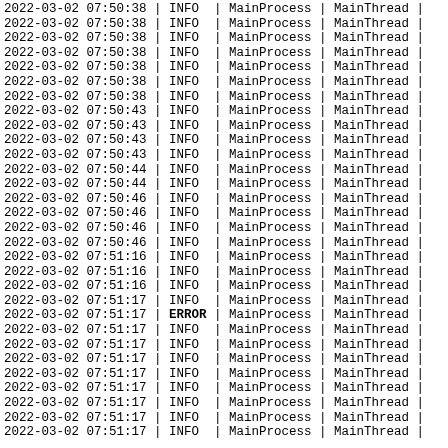2022-03-02 07:50:38 | INFO  | MainProcess | MainThread |
2022-03-02 07:50:38 | INFO  | MainProcess | MainThread |
2022-03-02 07:50:38 | INFO  | MainProcess | MainThread |
2022-03-02 07:50:38 | INFO  | MainProcess | MainThread |
2022-03-02 07:50:38 | INFO  | MainProcess | MainThread |
2022-03-02 07:50:38 | INFO  | MainProcess | MainThread |
2022-03-02 07:50:38 | INFO  | MainProcess | MainThread |
2022-03-02 07:50:43 | INFO  | MainProcess | MainThread |
2022-03-02 07:50:43 | INFO  | MainProcess | MainThread |
2022-03-02 07:50:43 | INFO  | MainProcess | MainThread |
2022-03-02 07:50:43 | INFO  | MainProcess | MainThread |
2022-03-02 07:50:44 | INFO  | MainProcess | MainThread |
2022-03-02 07:50:44 | INFO  | MainProcess | MainThread |
2022-03-02 07:50:46 | INFO  | MainProcess | MainThread |
2022-03-02 07:50:46 | INFO  | MainProcess | MainThread |
2022-03-02 07:50:46 | INFO  | MainProcess | MainThread |
2022-03-02 07:50:46 | INFO  | MainProcess | MainThread |
2022-03-02 07:51:16 | INFO  | MainProcess | MainThread |
2022-03-02 07:51:16 | INFO  | MainProcess | MainThread |
2022-03-02 07:51:16 | INFO  | MainProcess | MainThread |
2022-03-02 07:51:17 | INFO  | MainProcess | MainThread |
2022-03-02 07:51:17 | ERROR | MainProcess | MainThread |
2022-03-02 07:51:17 | INFO  | MainProcess | MainThread |
2022-03-02 07:51:17 | INFO  | MainProcess | MainThread |
2022-03-02 07:51:17 | INFO  | MainProcess | MainThread |
2022-03-02 07:51:17 | INFO  | MainProcess | MainThread |
2022-03-02 07:51:17 | INFO  | MainProcess | MainThread |
2022-03-02 07:51:17 | INFO  | MainProcess | MainThread |
2022-03-02 07:51:17 | INFO  | MainProcess | MainThread |
2022-03-02 07:51:17 | INFO  | MainProcess | MainThread |